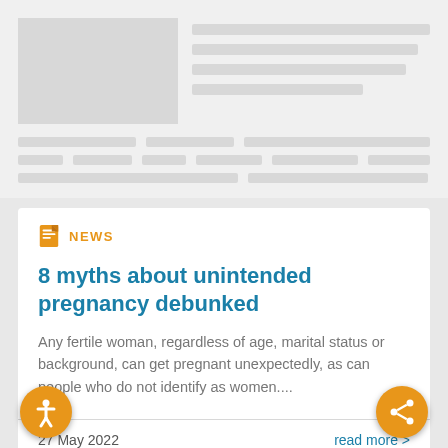[Figure (screenshot): Placeholder mockup of a webpage layout with gray image block and text lines]
NEWS
8 myths about unintended pregnancy debunked
Any fertile woman, regardless of age, marital status or background, can get pregnant unexpectedly, as can people who do not identify as women....
27 May 2022
read more >
[Figure (photo): Colorful artistic image strip at the bottom of the page]